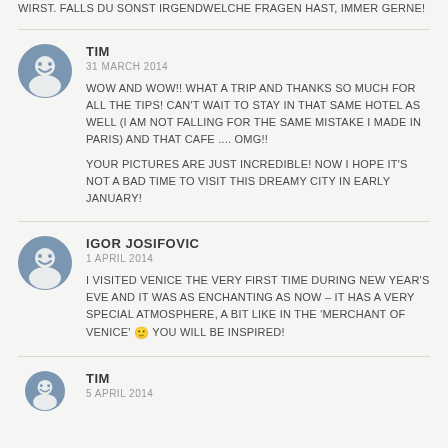WIRST. FALLS DU SONST IRGENDWELCHE FRAGEN HAST, IMMER GERNE!
TIM
31 MARCH 2014

WOW AND WOW!! WHAT A TRIP AND THANKS SO MUCH FOR ALL THE TIPS! CAN'T WAIT TO STAY IN THAT SAME HOTEL AS WELL (I AM NOT FALLING FOR THE SAME MISTAKE I MADE IN PARIS) AND THAT CAFE .... OMG!!

YOUR PICTURES ARE JUST INCREDIBLE! NOW I HOPE IT'S NOT A BAD TIME TO VISIT THIS DREAMY CITY IN EARLY JANUARY!
IGOR JOSIFOVIC
1 APRIL 2014

I VISITED VENICE THE VERY FIRST TIME DURING NEW YEAR'S EVE AND IT WAS AS ENCHANTING AS NOW – IT HAS A VERY SPECIAL ATMOSPHERE, A BIT LIKE IN THE 'MERCHANT OF VENICE' 🙂 YOU WILL BE INSPIRED!
TIM
5 APRIL 2014